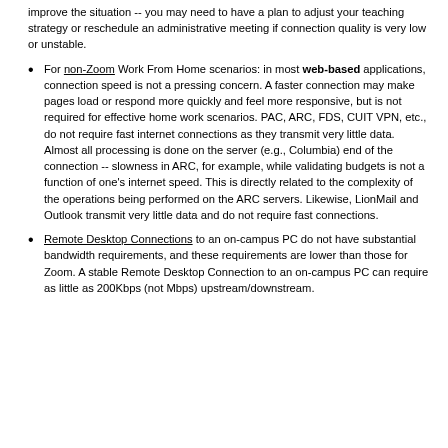improve the situation -- you may need to have a plan to adjust your teaching strategy or reschedule an administrative meeting if connection quality is very low or unstable.
For non-Zoom Work From Home scenarios: in most web-based applications, connection speed is not a pressing concern. A faster connection may make pages load or respond more quickly and feel more responsive, but is not required for effective home work scenarios. PAC, ARC, FDS, CUIT VPN, etc., do not require fast internet connections as they transmit very little data. Almost all processing is done on the server (e.g., Columbia) end of the connection -- slowness in ARC, for example, while validating budgets is not a function of one's internet speed. This is directly related to the complexity of the operations being performed on the ARC servers. Likewise, LionMail and Outlook transmit very little data and do not require fast connections.
Remote Desktop Connections to an on-campus PC do not have substantial bandwidth requirements, and these requirements are lower than those for Zoom. A stable Remote Desktop Connection to an on-campus PC can require as little as 200Kbps (not Mbps) upstream/downstream.